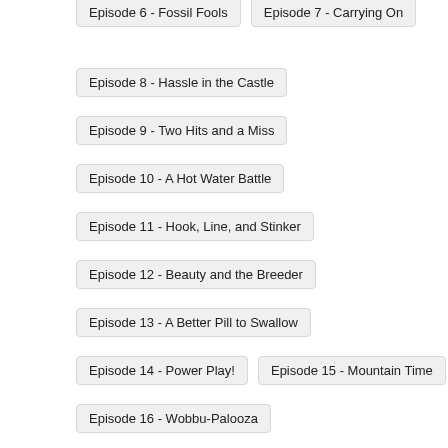Episode 6 - Fossil Fools
Episode 7 - Carrying On
Episode 8 - Hassle in the Castle
Episode 9 - Two Hits and a Miss
Episode 10 - A Hot Water Battle
Episode 11 - Hook, Line, and Stinker
Episode 12 - Beauty and the Breeder
Episode 13 - A Better Pill to Swallow
Episode 14 - Power Play!
Episode 15 - Mountain Time
Episode 16 - Wobbu-Palooza
Episode 17 - Imitation Confrontation
Episode 18 - The Trouble with Snubbull